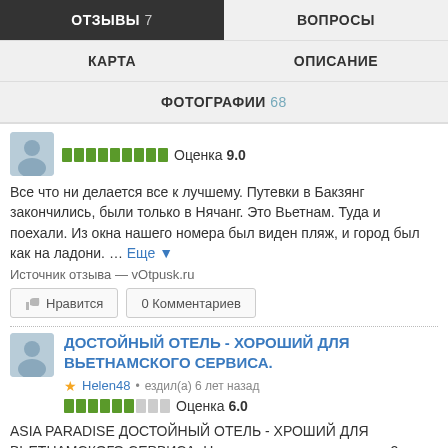ОТЗЫВЫ 7 | ВОПРОСЫ | КАРТА | ОПИСАНИЕ | ФОТОГРАФИИ 68
[Figure (other): Rating bar showing 9.0 with green segments]
Все что ни делается все к лучшему. Путевки в Бакзянг закончились, были только в Нячанг. Это Вьетнам. Туда и поехали. Из окна нашего номера был виден пляж, и город был как на ладони. … Еще ▼
Источник отзыва — vOtpusk.ru
Нравится   0 Комментариев
ДОСТОЙНЫЙ ОТЕЛЬ - ХОРОШИЙ ДЛЯ ВЬЕТНАМСКОГО СЕРВИСА.
Helen48 • ездил(а) 6 лет назад
[Figure (other): Rating bar showing 6.0 with green and grey segments]
ASIA PARADISE ДОСТОЙНЫЙ ОТЕЛЬ - ХРОШИЙ ДЛЯ ВЬЕТНАМСКОГО СЕРВИСА. Находиться на пересечении 2х самый центровых улиц на углу 2й – в самом сердце